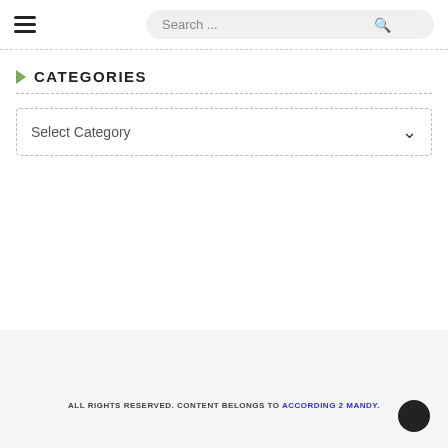☰  Search ...
▶ CATEGORIES
Select Category
ALL RIGHTS RESERVED. CONTENT BELONGS TO ACCORDING 2 MANDY.